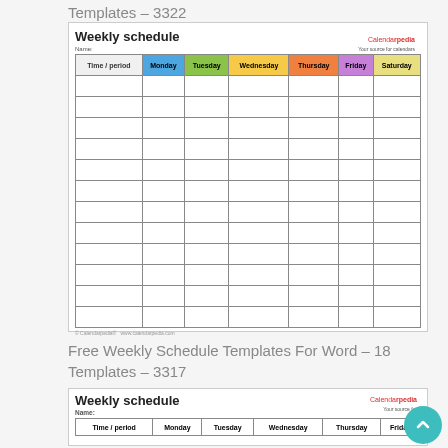Templates – 3322
[Figure (other): Weekly schedule template with colored column headers: Time/period, Monday (blue), Tuesday (green), Wednesday (yellow), Thursday (orange), Friday (purple), Saturday (light yellow). Contains 12 empty rows. Calendarpedia logo top right.]
Free Weekly Schedule Templates For Word – 18 Templates – 3317
[Figure (other): Weekly schedule template showing title, Name label, and header row with: Time/period, Monday, Tuesday, Wednesday, Thursday, Friday. Calendarpedia logo partially visible top right, teal scroll button bottom right.]